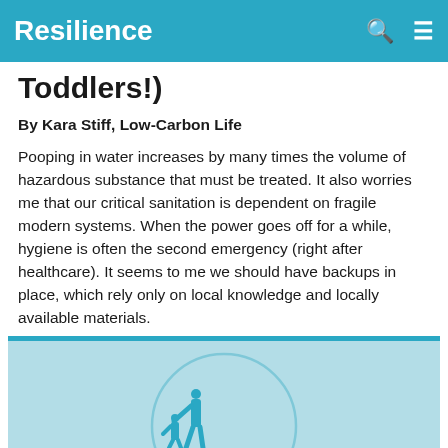Resilience
Toddlers!)
By Kara Stiff, Low-Carbon Life
Pooping in water increases by many times the volume of hazardous substance that must be treated. It also worries me that our critical sanitation is dependent on fragile modern systems. When the power goes off for a while, hygiene is often the second emergency (right after healthcare). It seems to me we should have backups in place, which rely only on local knowledge and locally available materials.
[Figure (illustration): Illustration of a person with a child (toddler) on a light blue background with a circular frame, appearing to be an article illustration related to composting or sanitation.]